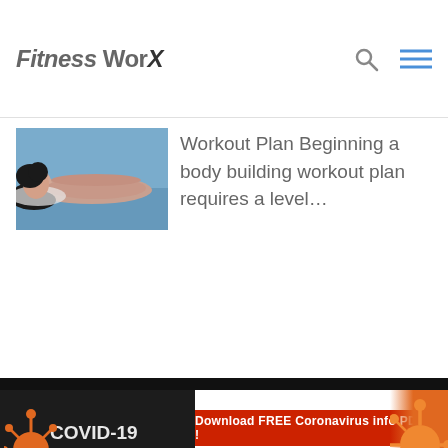Fitness WorX
[Figure (photo): Photo of a person lying on a yoga mat, viewed from above, dark hair spread out]
Workout Plan Beginning a body building workout plan requires a level…
[Figure (infographic): COVID-19 Pandemic banner with red button 'Download FREE Coronavirus info PDF!' and partial number 195,047, orange coronavirus particles on right]
Home | Privacy | TOS | GDPR Request Form | Contact